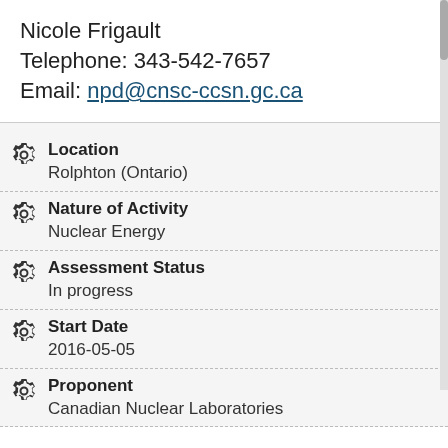Nicole Frigault
Telephone: 343-542-7657
Email: npd@cnsc-ccsn.gc.ca
Location
Rolphton (Ontario)
Nature of Activity
Nuclear Energy
Assessment Status
In progress
Start Date
2016-05-05
Proponent
Canadian Nuclear Laboratories